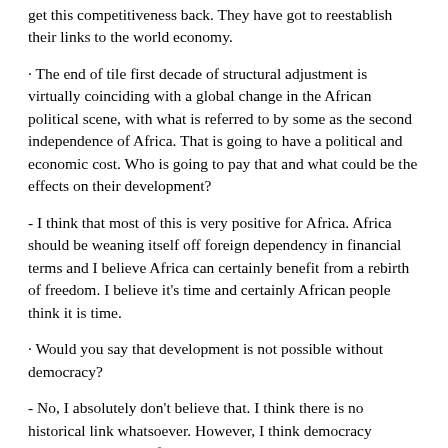get this competitiveness back. They have got to reestablish their links to the world economy.
· The end of tile first decade of structural adjustment is virtually coinciding with a global change in the African political scene, with what is referred to by some as the second independence of Africa. That is going to have a political and economic cost. Who is going to pay that and what could be the effects on their development?
- I think that most of this is very positive for Africa. Africa should be weaning itself off foreign dependency in financial terms and I believe Africa can certainly benefit from a rebirth of freedom. I believe it's time and certainly African people think it is time.
· Would you say that development is not possible without democracy?
- No, I absolutely don't believe that. I think there is no historical link whatsoever. However, I think democracy becomes inevitable if you have development, which involves the private sector moving forward. Just look at the problems in